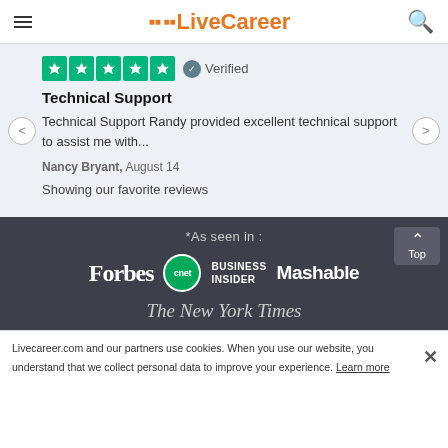LiveCareer
[Figure (screenshot): Trustpilot 5-star rating with Verified badge]
Technical Support
Technical Support Randy provided excellent technical support to assist me with...
Nancy Bryant, August 14
Showing our favorite reviews
*As seen in :
[Figure (logo): Forbes, cnet, Business Insider, Mashable logos]
[Figure (logo): The New York Times logo]
Livecareer.com and our partners use cookies. When you use our website, you understand that we collect personal data to improve your experience. Learn more